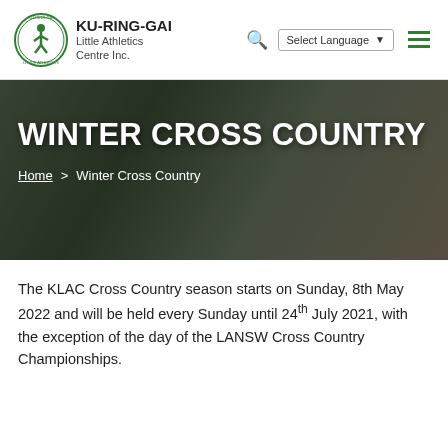KU-RING-GAI Little Athletics Centre Inc.
[Figure (photo): Hero banner photo of children in green athletic uniforms smiling, overlaid with large white text 'WINTER CROSS COUNTRY' and breadcrumb navigation 'Home > Winter Cross Country']
WINTER CROSS COUNTRY
Home > Winter Cross Country
The KLAC Cross Country season starts on Sunday, 8th May 2022 and will be held every Sunday until 24th July 2021, with the exception of the day of the LANSW Cross Country Championships.